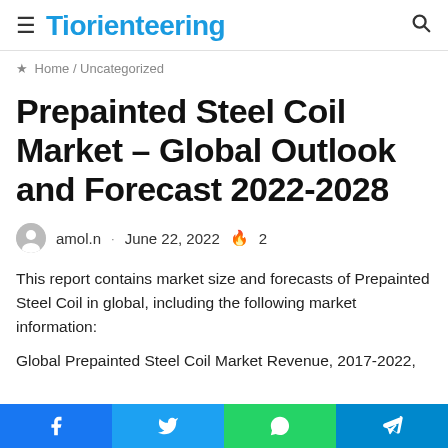Tiorienteering
Home / Uncategorized
Prepainted Steel Coil Market – Global Outlook and Forecast 2022-2028
amol.n · June 22, 2022 🔥 2
This report contains market size and forecasts of Prepainted Steel Coil in global, including the following market information:
Global Prepainted Steel Coil Market Revenue, 2017-2022,